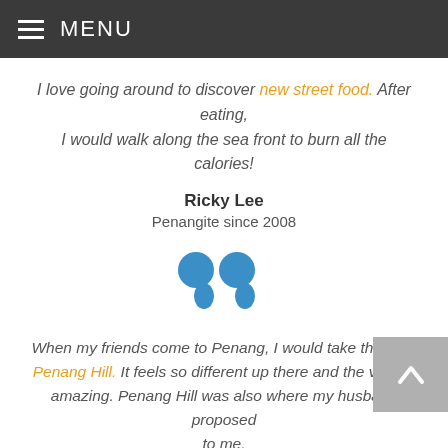MENU
I love going around to discover new street food. After eating, I would walk along the sea front to burn all the calories!
Ricky Lee
Penangite since 2008
[Figure (illustration): Large blue closing double quotation marks icon]
When my friends come to Penang, I would take them up Penang Hill. It feels so different up there and the view is amazing. Penang Hill was also where my husband proposed to me.